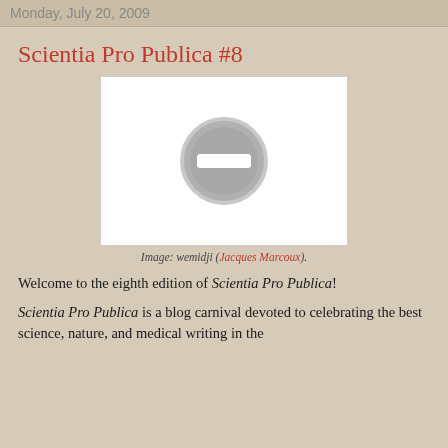Monday, July 20, 2009
Scientia Pro Publica #8
[Figure (other): Placeholder image with a grey circle containing a white minus/stop sign icon on a white background]
Image: wemidji (Jacques Marcoux).
Welcome to the eighth edition of Scientia Pro Publica!
Scientia Pro Publica is a blog carnival devoted to celebrating the best science, nature, and medical writing in the